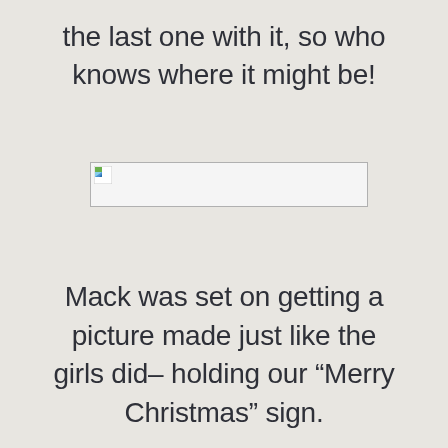the last one with it, so who knows where it might be!
[Figure (other): Broken/missing image placeholder shown as a small icon in a rectangular border]
Mack was set on getting a picture made just like the girls did– holding our “Merry Christmas” sign.